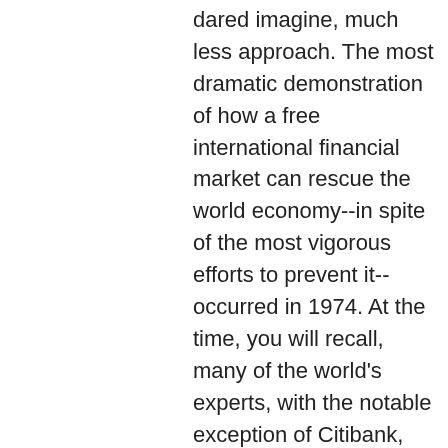dared imagine, much less approach. The most dramatic demonstration of how a free international financial market can rescue the world economy--in spite of the most vigorous efforts to prevent it--occurred in 1974. At the time, you will recall, many of the world's experts, with the notable exception of Citibank, were confidently predicting that it was hopeless to expect to recycle the tremendous surpluses generated by the Organization of Petroleum Exporting Countries, because there was no formal, regulated machinery in place to handle such a task. As it turned out, the market recycled these surpluses with very minor casualties.